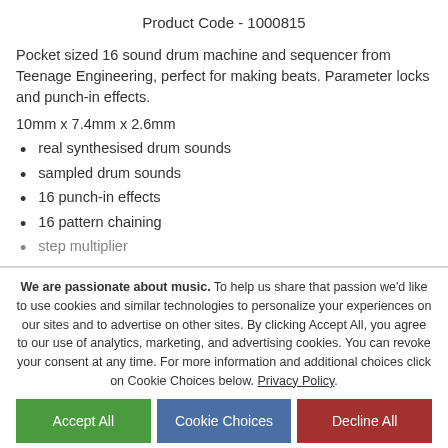Product Code - 1000815
Pocket sized 16 sound drum machine and sequencer from Teenage Engineering, perfect for making beats. Parameter locks and punch-in effects.
10mm x 7.4mm x 2.6mm
real synthesised drum sounds
sampled drum sounds
16 punch-in effects
16 pattern chaining
step multiplier
We are passionate about music. To help us share that passion we'd like to use cookies and similar technologies to personalize your experiences on our sites and to advertise on other sites. By clicking Accept All, you agree to our use of analytics, marketing, and advertising cookies. You can revoke your consent at any time. For more information and additional choices click on Cookie Choices below. Privacy Policy.
Accept All | Cookie Choices | Decline All